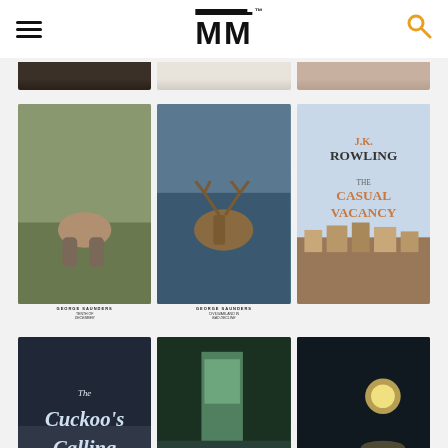[Figure (screenshot): Mobile app screenshot showing a book browsing interface with MM logo header, hamburger menu, search icon, and a grid of book covers including works by George Saunders, J.K. Rowling, Robert Galbraith (Cuckoo's Calling), and Raymond Carver.]